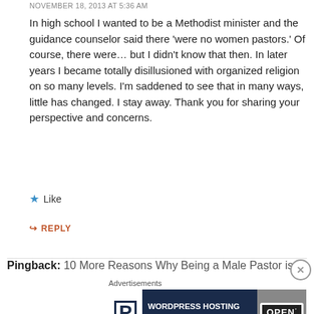NOVEMBER 18, 2013 AT 5:36 AM
In high school I wanted to be a Methodist minister and the guidance counselor said there ‘were no women pastors.’ Of course, there were… but I didn’t know that then. In later years I became totally disillusioned with organized religion on so many levels. I’m saddened to see that in many ways, little has changed. I stay away. Thank you for sharing your perspective and concerns.
★ Like
➜ REPLY
Pingback: 10 More Reasons Why Being a Male Pastor is Bett…
Advertisements
[Figure (screenshot): WordPress Hosting That Means Business advertisement banner with P logo and OPEN sign photo]